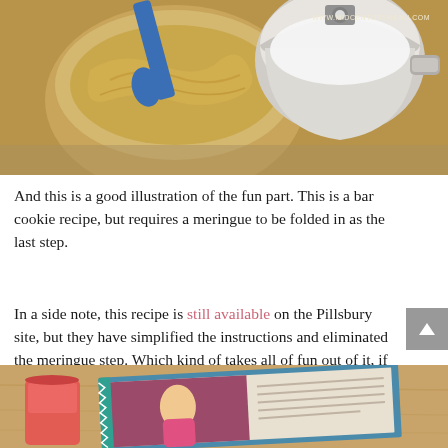[Figure (photo): Photo of mixing bowl with creamy batter and blue silicone spatula, beside a stainless steel stand mixer bowl. Watermark reads WWW.MIDCENTURYMENU.COM]
And this is a good illustration of the fun part. This is a bar cookie recipe, but requires a meringue to be folded in as the last step.
In a side note, this recipe is still available on the Pillsbury site, but they have simplified the instructions and eliminated the meringue step. Which kind of takes all of fun out of it, if you ask me. And probably drastically changes the final product as well.
[Figure (photo): Photo of an open cookbook or recipe booklet with colorful illustrated cover, lying on a wooden surface beside a decorative cup.]